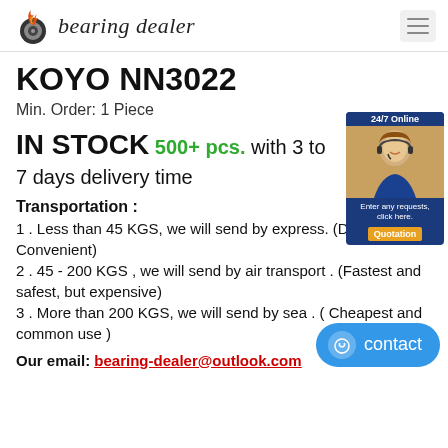bearing dealer
KOYO NN3022
Min. Order: 1 Piece
IN STOCK 500+ pcs. with 3 to 7 days delivery time
Transportation :
1 . Less than 45 KGS, we will send by express. (Door to Door, Convenient)
2 . 45 - 200 KGS , we will send by air transport . (Fastest and safest, but expensive)
3 . More than 200 KGS, we will send by sea . ( Cheapest and common use )
Our email: bearing-dealer@outlook.com
[Figure (photo): 24/7 online customer service representative widget with photo and Quotation button]
[Figure (other): Blue contact button with chat icon]